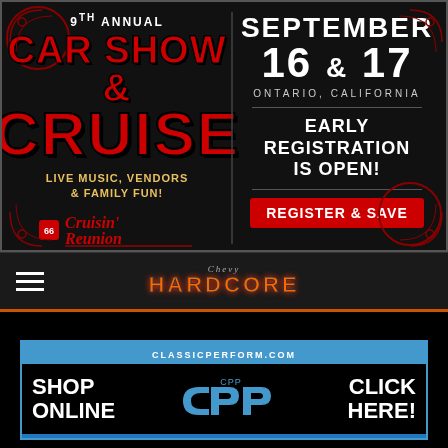[Figure (infographic): 9th Annual Car Show & Cruise event banner with red and black theme, showing date September 16 & 17 in Ontario, California, with Cruisin' Reunion branding, live music vendors and family fun, and early registration open button]
[Figure (logo): Chevy Hardcore website navigation bar with hamburger menu and Hardcore logo in orange]
[Figure (infographic): Classic Performance Products advertisement banner showing classicperform.com, Shop Online, CPP logo, Click Here, and Classic Performance Products Inc.]